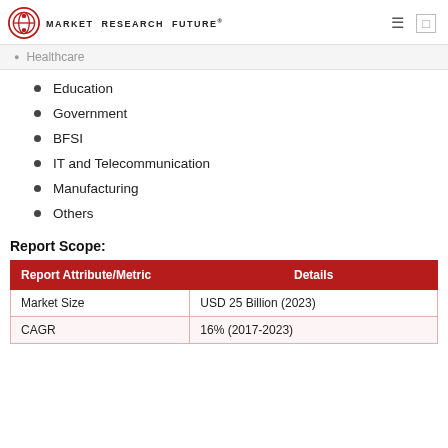MARKET RESEARCH FUTURE®
Healthcare
Education
Government
BFSI
IT and Telecommunication
Manufacturing
Others
Report Scope:
| Report Attribute/Metric | Details |
| --- | --- |
| Market Size | USD 25 Billion (2023) |
| CAGR | 16% (2017-2023) |